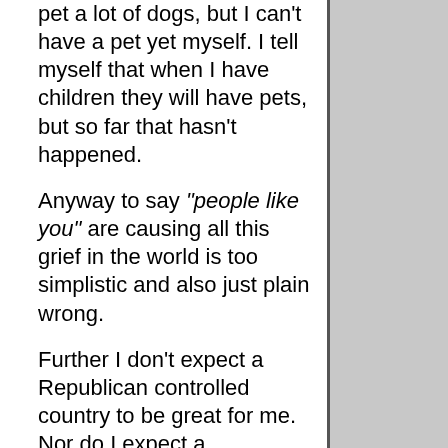pet a lot of dogs, but I can't have a pet yet myself. I tell myself that when I have children they will have pets, but so far that hasn't happened.
Anyway to say "people like you" are causing all this grief in the world is too simplistic and also just plain wrong.
Further I don't expect a Republican controlled country to be great for me. Nor do I expect a Democratic